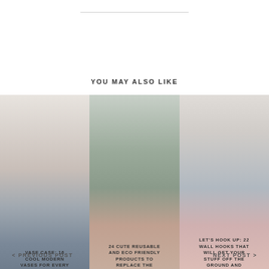YOU MAY ALSO LIKE
[Figure (photo): Three side-by-side blog post preview cards with images and overlay text titles about home decor topics]
VASE CASE: 16 COOL MODERN VASES FOR EVERY BUDGET
24 CUTE REUSABLE AND ECO FRIENDLY PRODUCTS TO REPLACE THE SINGLE USE STUFF
LET'S HOOK UP: 22 WALL HOOKS THAT WILL GET YOUR STUFF OFF THE GROUND AND LOOKING GOOD
< PREVIOUS POST
NEXT POST >